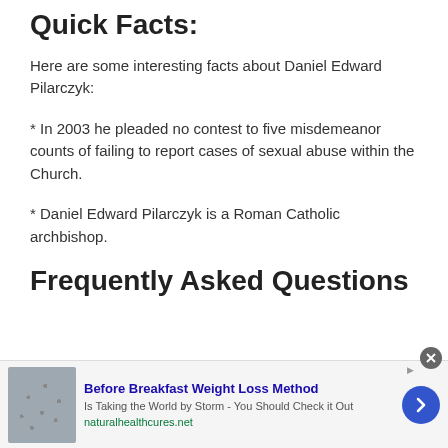Quick Facts:
Here are some interesting facts about Daniel Edward Pilarczyk:
* In 2003 he pleaded no contest to five misdemeanor counts of failing to report cases of sexual abuse within the Church.
* Daniel Edward Pilarczyk is a Roman Catholic archbishop.
Frequently Asked Questions
[Figure (infographic): Advertisement banner: Before Breakfast Weight Loss Method - Is Taking the World by Storm - You Should Check it Out. naturalhealthcures.net. Shows image of colander/strainer. Blue arrow button on right.]